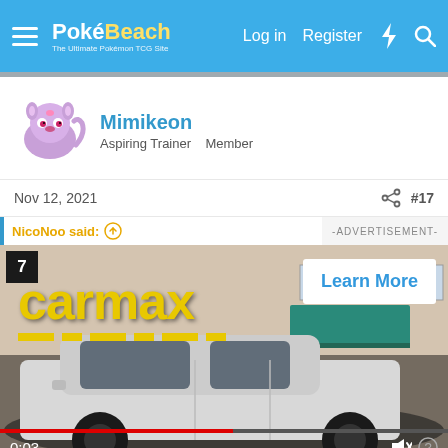PokéBeach — Log in  Register
[Figure (illustration): PokéBeach website header with hamburger menu, logo, Log in, Register, lightning bolt, and search icons on a blue background]
[Figure (photo): Mimikeon user avatar — cartoon purple Espeon-like Pokémon]
Mimikeon
Aspiring Trainer   Member
Nov 12, 2021  #17
NicoNoo said:
[Figure (screenshot): CarMax video advertisement showing a white SUV parked in front of a building with teal awning, CarMax logo in yellow, Learn More button, video progress bar at 0:03, and muted speaker icon]